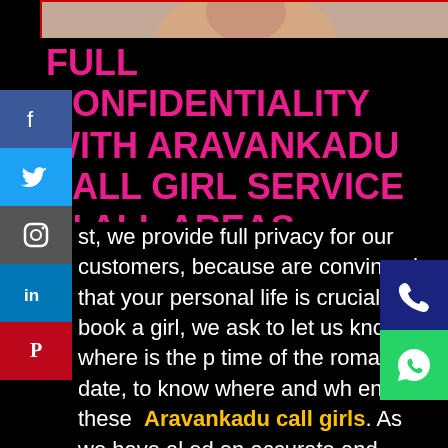[Figure (photo): Partial photo of a person, cropped at top of page]
FULL CONFIDENTIALITY WITH ARAVANKADU CALL GIRL SERVICE IN ALL AREAS
st, we provide full privacy for our customers, because are convinced that your personal life is crucial. W book a girl, we ask to let us know where is the p time of the romantic date, to know where and wh end these Aravankadu call girls. As we have al ed on accurate and discrete services, we will ensure that all your personal data will be handled with maximum care. Nobody will know that you were the client of meetvipgirls ladies because we delete your personal information as soon as the girl returned to our office. In this
[Figure (infographic): Social media share buttons on left: Facebook (blue), Twitter (blue), Instagram (grey), LinkedIn (blue), Pinterest (red)]
[Figure (infographic): Social media contact buttons on right: Phone (dark blue), WhatsApp (green)]